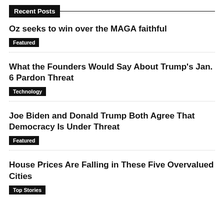Recent Posts
Oz seeks to win over the MAGA faithful
Featured
What the Founders Would Say About Trump's Jan. 6 Pardon Threat
Technology
Joe Biden and Donald Trump Both Agree That Democracy Is Under Threat
Featured
House Prices Are Falling in These Five Overvalued Cities
Top Stories